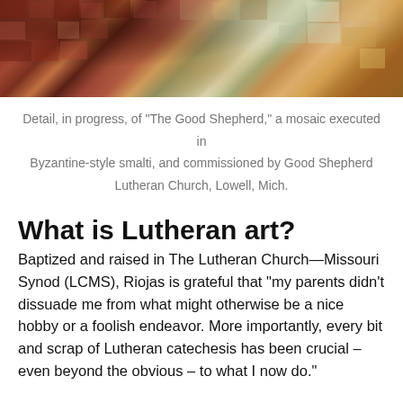[Figure (photo): Close-up detail of a mosaic in progress, showing colorful tesserae pieces in reds, browns, greens, and golden tones arranged in Byzantine-style smalti.]
Detail, in progress, of "The Good Shepherd," a mosaic executed in Byzantine-style smalti, and commissioned by Good Shepherd Lutheran Church, Lowell, Mich.
What is Lutheran art?
Baptized and raised in The Lutheran Church—Missouri Synod (LCMS), Riojas is grateful that “my parents didn’t dissuade me from what might otherwise be a nice hobby or a foolish endeavor. More importantly, every bit and scrap of Lutheran catechesis has been crucial – even beyond the obvious – to what I now do.”